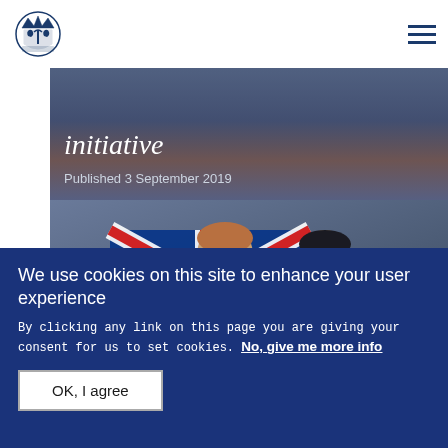UK Government site header with crown logo and hamburger menu
initiative
Published 3 September 2019
[Figure (photo): Two people wrapped in a Union Jack flag, photographed at an outdoor event]
We use cookies on this site to enhance your user experience
By clicking any link on this page you are giving your consent for us to set cookies. No, give me more info
OK, I agree